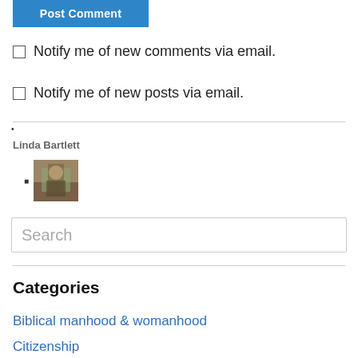Post Comment
Notify me of new comments via email.
Notify me of new posts via email.
Linda Bartlett
[Figure (photo): Avatar/profile photo thumbnail of Linda Bartlett, an outdoor scene with a person]
Search
Categories
Biblical manhood & womanhood
Citizenship